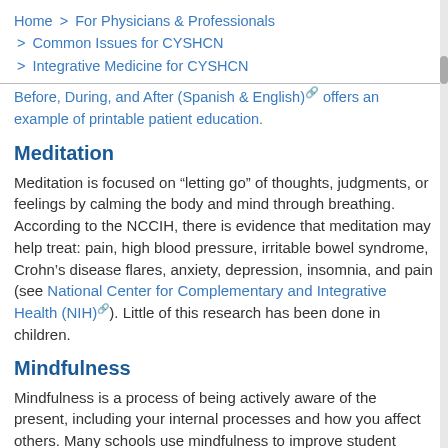Home > For Physicians & Professionals > Common Issues for CYSHCN > Integrative Medicine for CYSHCN
Before, During, and After (Spanish & English) offers an example of printable patient education.
Meditation
Meditation is focused on “letting go” of thoughts, judgments, or feelings by calming the body and mind through breathing. According to the NCCIH, there is evidence that meditation may help treat: pain, high blood pressure, irritable bowel syndrome, Crohn’s disease flares, anxiety, depression, insomnia, and pain (see National Center for Complementary and Integrative Health (NIH)). Little of this research has been done in children.
Mindfulness
Mindfulness is a process of being actively aware of the present, including your internal processes and how you affect others. Many schools use mindfulness to improve student outcomes and limiting screen time has also been seen as a